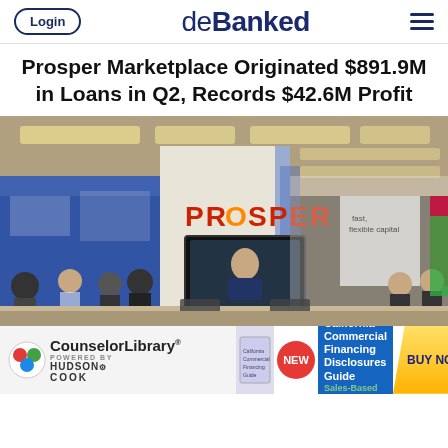Login | deBanked | ☰
Prosper Marketplace Originated $891.9M in Loans in Q2, Records $42.6M Profit
[Figure (photo): Interior of a conference or trade show booth displaying the PROSPER logo on a white pillar with a television screen mounted below it. Conference attendees visible in the background.]
[Figure (infographic): CounselorLibrary powered by Hudson Cook advertisement banner. NEW badge. California Commercial Financing Disclosures Guide, Sales-Based Financing. BUY NOW button.]